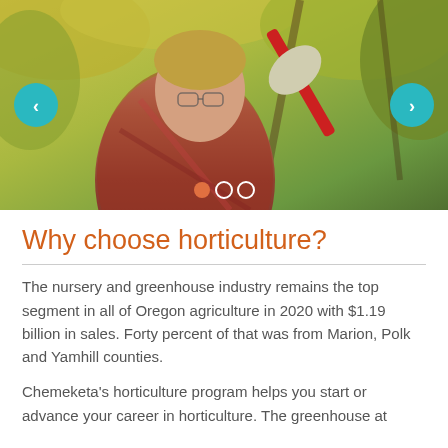[Figure (photo): A young man wearing glasses and a red plaid flannel shirt and work gloves, pruning or trimming tree branches with long-handled shears, surrounded by autumn foliage with yellow and green leaves. Navigation arrows on left and right, carousel dots at bottom.]
Why choose horticulture?
The nursery and greenhouse industry remains the top segment in all of Oregon agriculture in 2020 with $1.19 billion in sales. Forty percent of that was from Marion, Polk and Yamhill counties.
Chemeketa's horticulture program helps you start or advance your career in horticulture. The greenhouse at